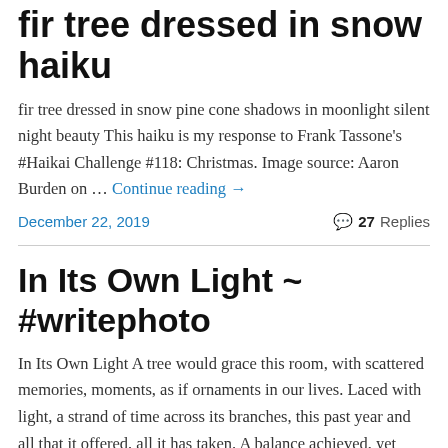fir tree dressed in snow haiku
fir tree dressed in snow pine cone shadows in moonlight silent night beauty This haiku is my response to Frank Tassone's #Haikai Challenge #118: Christmas. Image source: Aaron Burden on … Continue reading →
December 22, 2019 | 27 Replies
In Its Own Light ~ #writephoto
In Its Own Light A tree would grace this room, with scattered memories, moments, as if ornaments in our lives. Laced with light, a strand of time across its branches, this past year and all that it offered, all it has taken. A balance achieved, yet where is the balance in